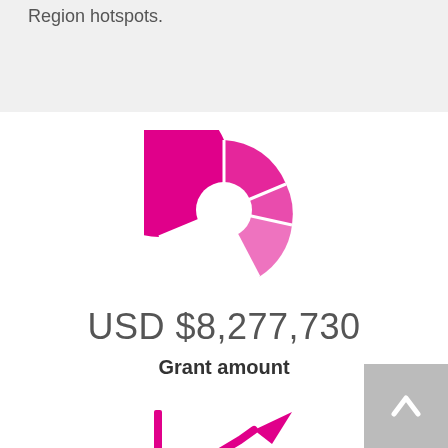Region hotspots.
[Figure (infographic): Pink/magenta pie chart icon showing a donut-style pie chart with several segments]
USD $8,277,730
Grant amount
[Figure (infographic): Pink/magenta trending upward line chart icon with an arrow pointing up-right]